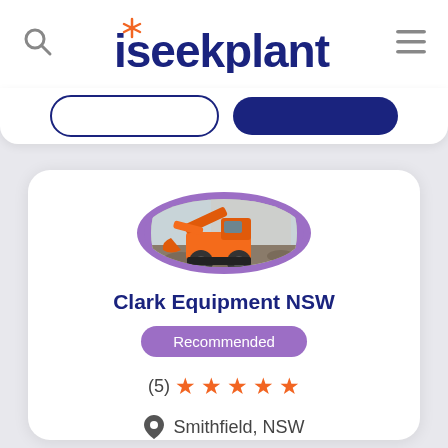[Figure (logo): iseekplant logo with orange asterisk-like icon above the 'i']
[Figure (photo): Circular profile image with purple ring border showing an orange wheeled excavator working on a gravel/dirt site with a building in the background]
Clark Equipment NSW
Recommended
(5) ★★★★★
Smithfield, NSW